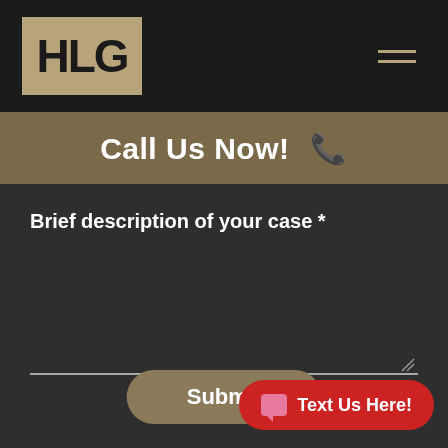[Figure (logo): HLG law firm logo — white letters H, L, G on a tan/khaki background box, inside a dark header bar with hamburger menu icon on the right]
Call Us Now! 📞
Brief description of your case *
Submit
Text Us Here!